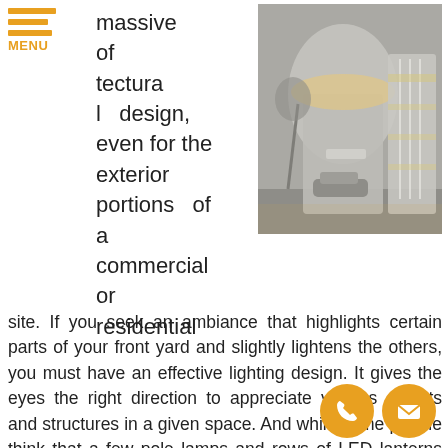MENU
massive of architectural design, even for the exterior portions of a commercial or residential site. If you seek an ambiance that highlights certain parts of your front yard and slightly lightens the others, you must have an effective lighting design. It gives the eyes the right direction to appreciate various objects and structures in a given space. And while some people think that a few pole lamps and rows of LED lanterns are enough, aiming to have a truly elegant and functional lighting layout will take more than those. If you run a hotel, food establishment, resort, entertainment establishment, or even a corporate office
[Figure (photo): Night view of a modern commercial building with illuminated architectural features, warm lighting accents on curved facade and glass tower sections, cars visible in foreground.]